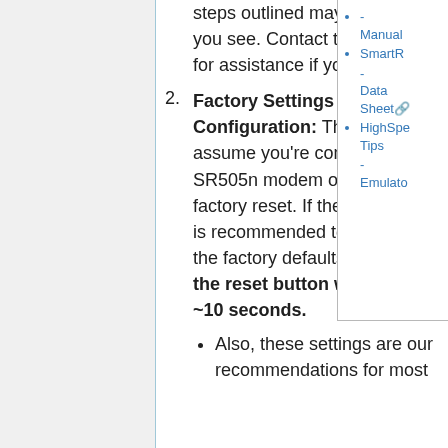steps outlined may not align with what you see. Contact the support@ncf.ca for assistance if you run into problems.
Factory Settings and Standard Configuration: These instructions assume you're configuring SmartRG SR505n modem out of the box or after a factory reset. If the modem is not new, it is recommended to reset the modem to the factory defaults by holding down the reset button with a paper clip for ~10 seconds.
Also, these settings are our recommendations for most...
Manual
SmartR - Data Sheet
HighSpe Tips - Emulato